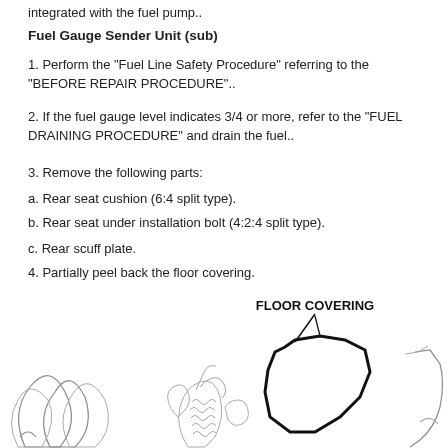integrated with the fuel pump..
Fuel Gauge Sender Unit (sub)
1. Perform the "Fuel Line Safety Procedure" referring to the "BEFORE REPAIR PROCEDURE"..
2. If the fuel gauge level indicates 3/4 or more, refer to the "FUEL DRAINING PROCEDURE" and drain the fuel..
3. Remove the following parts:
a. Rear seat cushion (6:4 split type).
b. Rear seat under installation bolt (4:2:4 split type).
c. Rear scuff plate.
4. Partially peel back the floor covering.
[Figure (engineering-diagram): Engineering diagram showing floor covering being peeled back, with label 'FLOOR COVERING' and arrow pointing to the area. Three illustrations show hands working on the floor covering from different angles.]